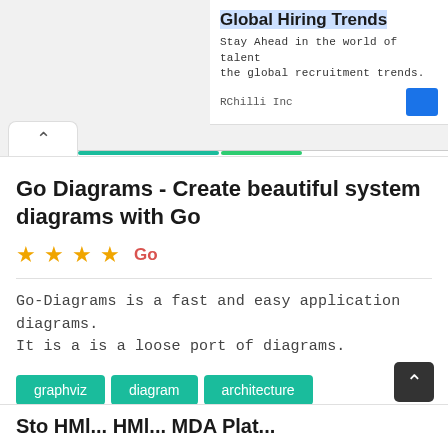[Figure (screenshot): Ad banner for Global Hiring Trends by RChilli Inc with a blue call-to-action button]
Go Diagrams - Create beautiful system diagrams with Go
★★★★ Go
Go-Diagrams is a fast and easy application diagrams. It is a is a loose port of diagrams.
graphviz
diagram
architecture
diagram-as-code
system-architecture
flow-chart
system-diagram
Sto HMl... HMl... MDA Plat...